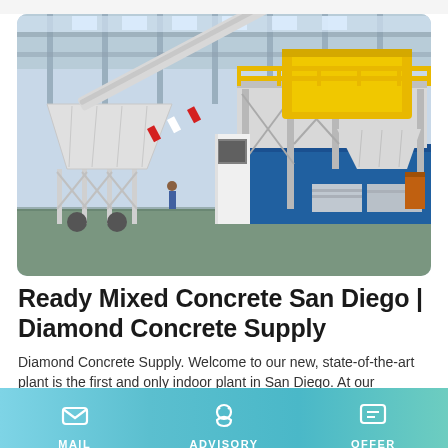[Figure (photo): Industrial concrete batching plant inside a large warehouse facility. The plant features white steel framework, conveyor belts, yellow mixing machinery on an elevated platform with yellow safety railings, aggregate storage silos, and a blue block wall in the background. The floor is green concrete.]
Ready Mixed Concrete San Diego | Diamond Concrete Supply
Diamond Concrete Supply. Welcome to our new, state-of-the-art plant is the first and only indoor plant in San Diego. At our
MAIL   ADVISORY   OFFER